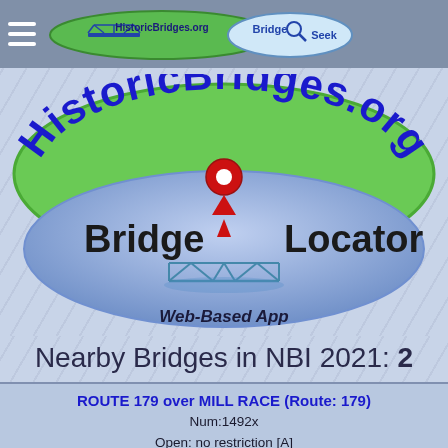HistoricBridges.org | Bridge Seek
[Figure (logo): HistoricBridges.org Bridge Locator Web-Based App logo: green oval with 'HistoricBridges.org' text, blue oval with 'Bridge Locator' text, red map pin, truss bridge graphic, and 'Web-Based App' italic text]
Nearby Bridges in NBI 2021: 2
ROUTE 179 over MILL RACE (Route: 179)
Num:1492x
Open: no restriction [A]
Built: 1959, Reconstructed: N/A [0000]
Historic: Bridge is not eligible for the NRHP. [5]